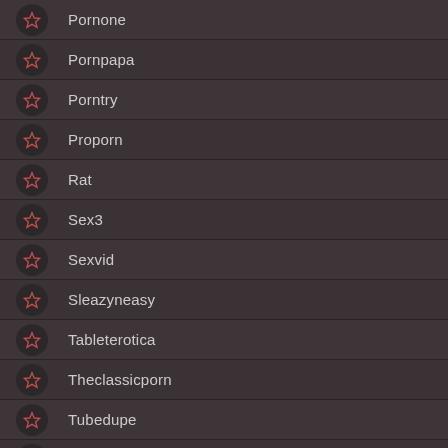Pornone
Pornpapa
Porntry
Proporn
Rat
Sex3
Sexvid
Sleazyneasy
Tableterotica
Theclassicporn
Tubedupe